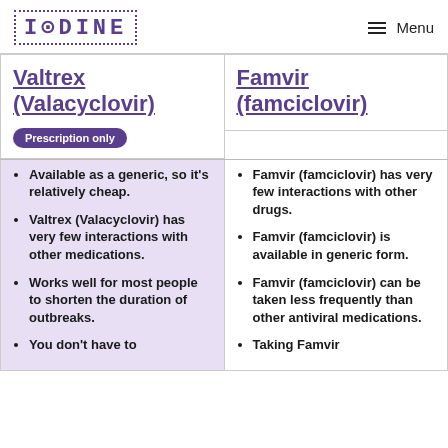IODINE | Menu
Valtrex (Valacyclovir)
Famvir (famciclovir)
Prescription only
Available as a generic, so it's relatively cheap.
Valtrex (Valacyclovir) has very few interactions with other medications.
Works well for most people to shorten the duration of outbreaks.
You don't have to
Famvir (famciclovir) has very few interactions with other drugs.
Famvir (famciclovir) is available in generic form.
Famvir (famciclovir) can be taken less frequently than other antiviral medications.
Taking Famvir